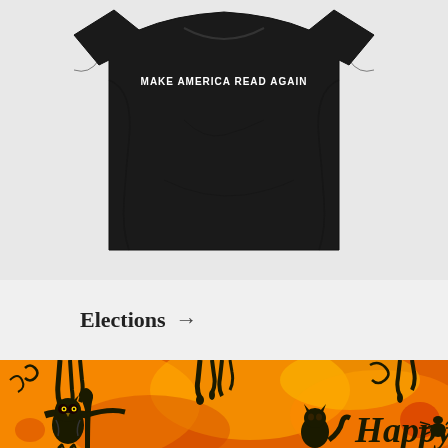[Figure (photo): Black t-shirt/tank top with white text 'MAKE AMERICA READ AGAIN' printed on it, shown against a light gray background]
Elections →
[Figure (illustration): Halloween-themed orange and black artwork with spooky trees dripping from above, an owl silhouette on a branch, a cat silhouette, and the beginning of text 'Happy' in black gothic font]